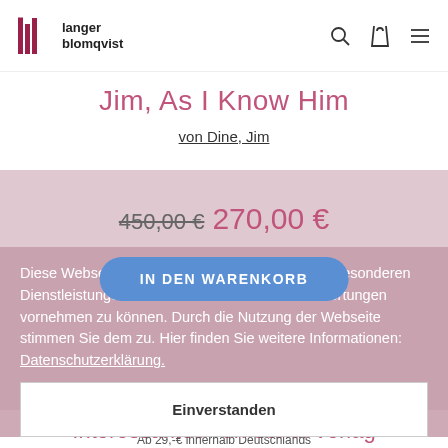langer blomqvist
Jim, As I Know Him
von Dine, Jim
450,00 € 270,00 €
IN DEN WARENKORB
noch 1 Stück verfügbar
Ab 29,-€ innerhalb Deutschlands versandkostenfrei
sofort lieferbar
Diese Webseite nutzt Cookies, um Ihnen unsere besonderen Dienstleistungen anbieten und statistische Auswertungen vornehmen zu können. Durch die Nutzung der Webseite stimmen Sie dem zu. Hier finden Sie weitere Informationen: Datenschutzerklärung.
Einverstanden
Interessantes von Steidl Verlag